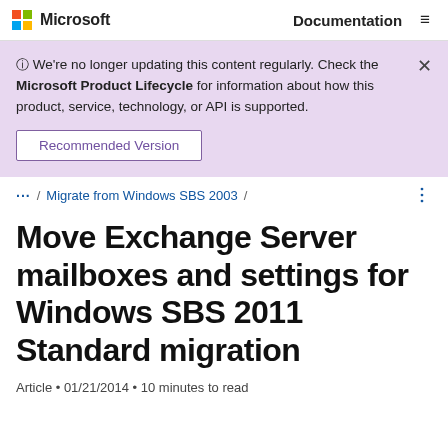Microsoft  Documentation
We're no longer updating this content regularly. Check the Microsoft Product Lifecycle for information about how this product, service, technology, or API is supported.
Recommended Version
... / Migrate from Windows SBS 2003 /
Move Exchange Server mailboxes and settings for Windows SBS 2011 Standard migration
Article • 01/21/2014 • 10 minutes to read